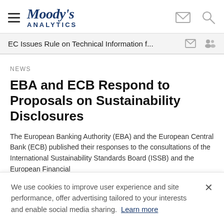[Figure (logo): Moody's Analytics logo with hamburger menu icon on the left and envelope and search icons on the right]
EC Issues Rule on Technical Information f...
NEWS
EBA and ECB Respond to Proposals on Sustainability Disclosures
The European Banking Authority (EBA) and the European Central Bank (ECB) published their responses to the consultations of the International Sustainability Standards Board (ISSB) and the European Financial
We use cookies to improve user experience and site performance, offer advertising tailored to your interests and enable social media sharing. Learn more